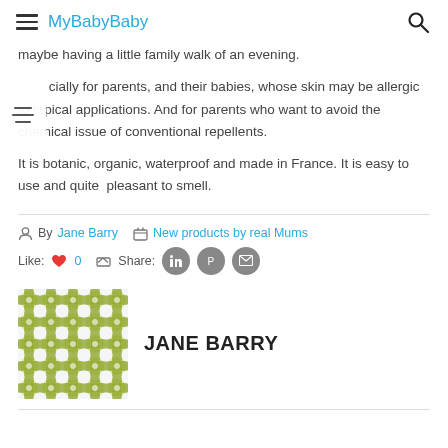MyBabyBaby
maybe having a little family walk of an evening.
Especially for parents, and their babies, whose skin may be allergic to topical applications. And for parents who want to avoid the chemical issue of conventional repellents.
It is botanic, organic, waterproof and made in France. It is easy to use and quite pleasant to smell.
By Jane Barry   New products by real Mums
Like: ♥ 0   Share:
JANE BARRY